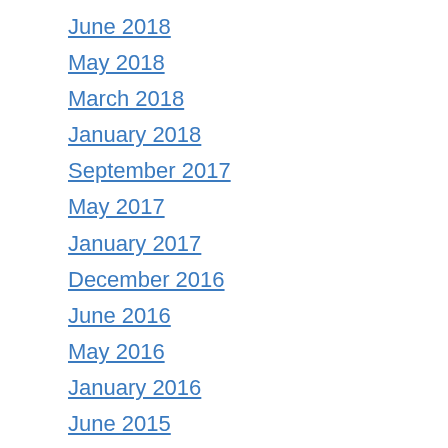June 2018
May 2018
March 2018
January 2018
September 2017
May 2017
January 2017
December 2016
June 2016
May 2016
January 2016
June 2015
November 2014